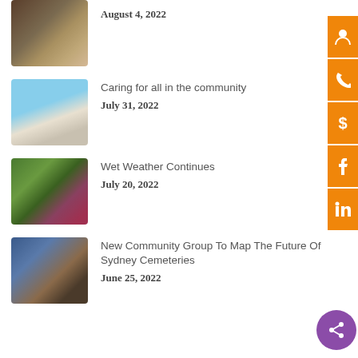August 4, 2022
Caring for all in the community
July 31, 2022
Wet Weather Continues
July 20, 2022
New Community Group To Map The Future Of Sydney Cemeteries
June 25, 2022